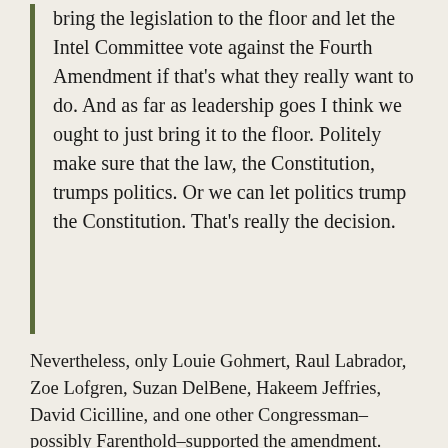bring the legislation to the floor and let the Intel Committee vote against the Fourth Amendment if that's what they really want to do. And as far as leadership goes I think we ought to just bring it to the floor. Politely make sure that the law, the Constitution, trumps politics. Or we can let politics trump the Constitution. That's really the decision.
Nevertheless, only Louie Gohmert, Raul Labrador, Zoe Lofgren, Suzan DelBene, Hakeem Jeffries, David Cicilline, and one other Congressman–possibly Farenthold–supported the amendment.
The committee purportedly overseeing the